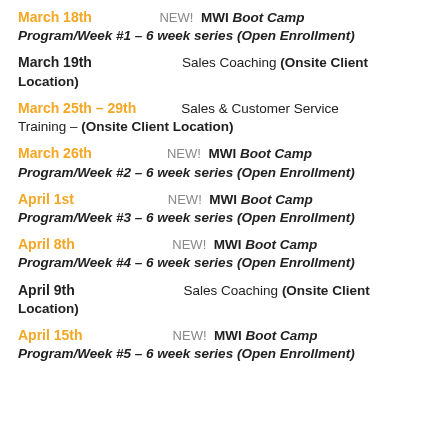March 18th   NEW!  MWI Boot Camp Program/Week #1 – 6 week series (Open Enrollment)
March 19th   Sales Coaching (Onsite Client Location)
March 25th – 29th   Sales & Customer Service Training – (Onsite Client Location)
March 26th   NEW!  MWI Boot Camp Program/Week #2 – 6 week series (Open Enrollment)
April 1st   NEW!  MWI Boot Camp Program/Week #3 – 6 week series (Open Enrollment)
April 8th   NEW!  MWI Boot Camp Program/Week #4 – 6 week series (Open Enrollment)
April 9th   Sales Coaching (Onsite Client Location)
April 15th   NEW!  MWI Boot Camp Program/Week #5 – 6 week series (Open Enrollment)